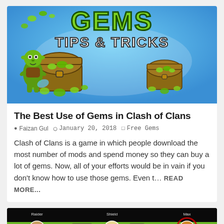[Figure (screenshot): Clash of Clans Gems Tips & Tricks banner image: green text 'GEMS TIPS & TRICKS' on blue background with treasure chests full of gems and a goblin character]
The Best Use of Gems in Clash of Clans
Faizan Gul   January 20, 2018   Free Gems
Clash of Clans is a game in which people download the most number of mods and spend money so they can buy a lot of gems. Now, all of your efforts would be in vain if you don't know how to use those gems. Even t… READ MORE...
[Figure (screenshot): Clash of Clans game screenshot showing player profile icons with labels 'Raider', 'Shield', 'Max' and other game UI elements on green background]